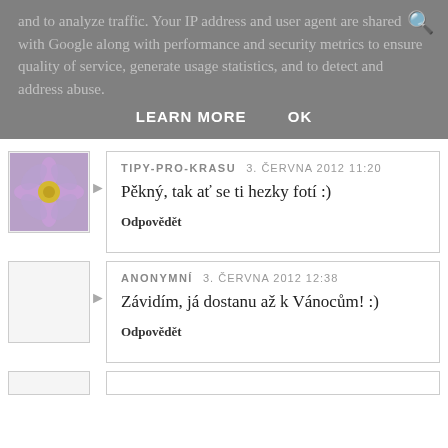and to analyze traffic. Your IP address and user agent are shared with Google along with performance and security metrics to ensure quality of service, generate usage statistics, and to detect and address abuse.
LEARN MORE    OK
TIPY-PRO-KRASU  3. ČERVNA 2012 11:20
Pěkný, tak ať se ti hezky fotí :)
Odpovědět
ANONYMNÍ  3. ČERVNA 2012 12:38
Závidím, já dostanu až k Vánocům! :)
Odpovědět